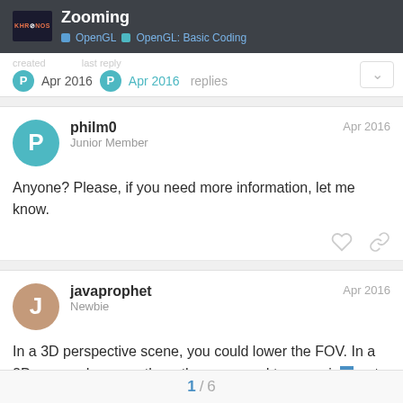Zooming — OpenGL › OpenGL: Basic Coding
Apr 2016   Apr 2016   replies
philm0
Junior Member
Apr 2016

Anyone? Please, if you need more information, let me know.
javaprophet
Newbie
Apr 2016

In a 3D perspective scene, you could lower the FOV. In a 2D scene, decrease the ortho compared to your viewport, I think(less certain than 3D on this one). For example, for an 800x600 window, keep that your viewport, but set your Ortho to 400x300 for a 2x zoom.
1 / 6